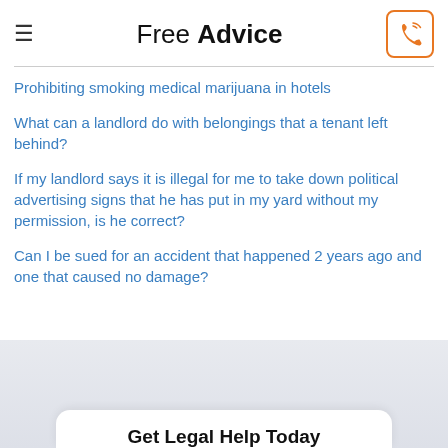Free Advice
Prohibiting smoking medical marijuana in hotels
What can a landlord do with belongings that a tenant left behind?
If my landlord says it is illegal for me to take down political advertising signs that he has put in my yard without my permission, is he correct?
Can I be sued for an accident that happened 2 years ago and one that caused no damage?
Get Legal Help Today